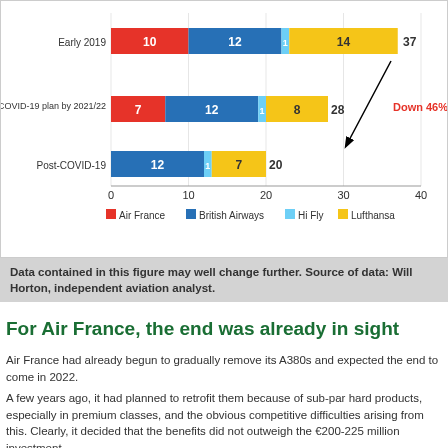[Figure (stacked-bar-chart): ]
Data contained in this figure may well change further. Source of data: Will Horton, independent aviation analyst.
For Air France, the end was already in sight
Air France had already begun to gradually remove its A380s and expected the end to come in 2022.
A few years ago, it had planned to retrofit them because of sub-par hard products, especially in premium classes, and the obvious competitive difficulties arising from this.  Clearly, it decided that the benefits did not outweigh the €200-225 million investment.